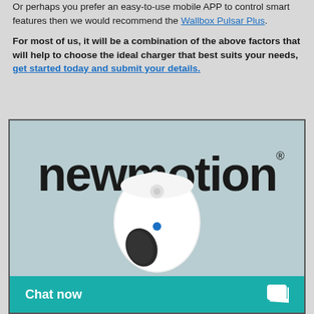Or perhaps you prefer an easy-to-use mobile APP to control smart features then we would recommend the Wallbox Pulsar Plus.
For most of us, it will be a combination of the above factors that will help to choose the ideal charger that best suits your needs, get started today and submit your details.
[Figure (photo): NewMotion branded image with the newmotion logo in large bold text at the top and a white EV home charger device shown below, with a teal 'Chat now' bar with a chat icon at the bottom.]